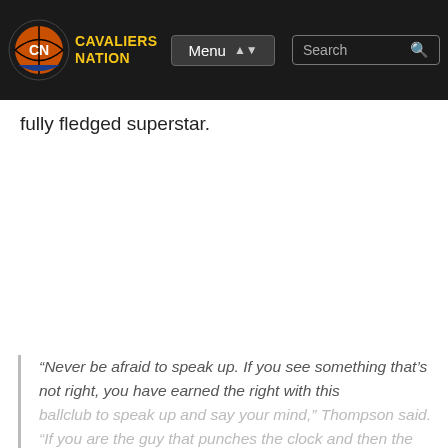CAVALIERS NATION | Menu | Search
fully fledged superstar.
“Never be afraid to speak up. If you see something that’s not right, you have earned the right with this ballclub to speak up and say your mind,” Thompson said. “If you are the guy that punches the clock and then the night the crown association